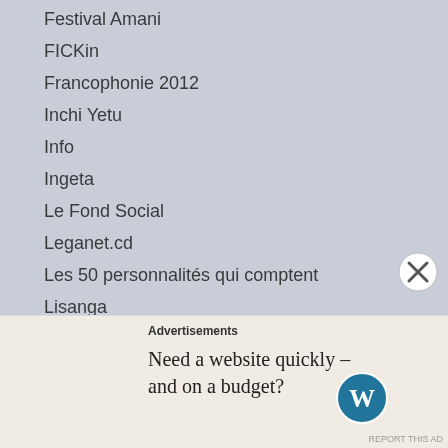Festival Amani
FICKin
Francophonie 2012
Inchi Yetu
Info
Ingeta
Le Fond Social
Leganet.cd
Les 50 personnalités qui comptent
Lisanga
Mboka Mosika
Mutaani
Natural Wonders
Panzi Hospital
Planification Familiale
Advertisements
Need a website quickly – and on a budget?